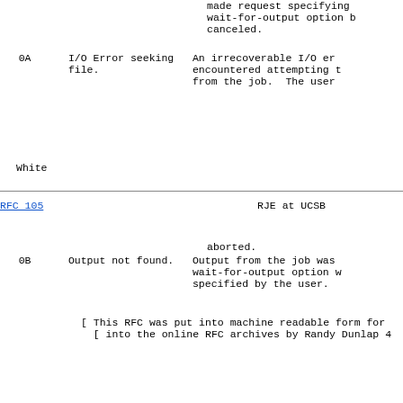made request specifying
wait-for-output option b
canceled.
0A     I/O Error seeking     An irrecoverable I/O er
       file.               encountered attempting t
                           from the job.  The user
White
RFC 105                              RJE at UCSB
aborted.
0B     Output not found.    Output from the job was
                           wait-for-output option w
                           specified by the user.
[ This RFC was put into machine readable form for
  [ into the online RFC archives by Randy Dunlap 4